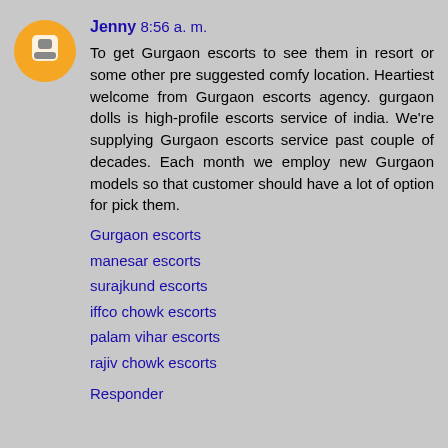Jenny 8:56 a. m.
To get Gurgaon escorts to see them in resort or some other pre suggested comfy location. Heartiest welcome from Gurgaon escorts agency. gurgaon dolls is high-profile escorts service of india. We're supplying Gurgaon escorts service past couple of decades. Each month we employ new Gurgaon models so that customer should have a lot of option for pick them.
Gurgaon escorts
manesar escorts
surajkund escorts
iffco chowk escorts
palam vihar escorts
rajiv chowk escorts
Responder
Mandeep 8:14 a. m.
I will be interested in more similar topics. i see you got really very useful topics. i will be always checking your